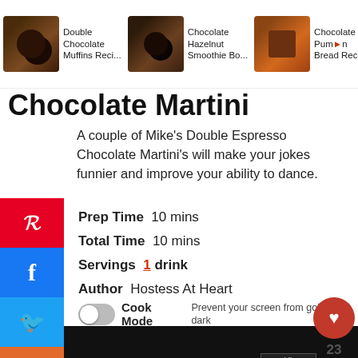Double Chocolate Muffins Reci... | Chocolate Hazelnut Smoothie Bo... | Chocolate Pumpkin Bread Rec...
Chocolate Martini
A couple of Mike's Double Espresso Chocolate Martini's will make your jokes funnier and improve your ability to dance.
Prep Time  10 mins
Total Time  10 mins
Servings  1  drink
Author  Hostess At Heart
Cook Mode  Prevent your screen from going dark
[Figure (photo): Advertisement banner: DON'T TEXT AND [car emoji] ad NHTSA]
[Figure (photo): Advertisement banner: 43 CHILDREN A Day Are Diagnosed With Cancer in the U.S. cookies for kids cancer Let's Get Baking]